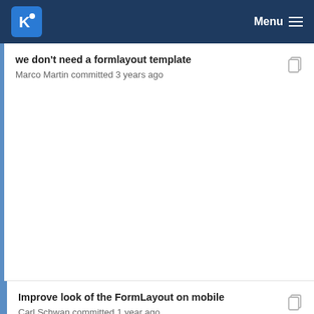KDE Menu
we don't need a formlayout template
Marco Martin committed 3 years ago
Improve look of the FormLayout on mobile
Carl Schwan committed 1 year ago
[FormLayout] Propagate FormData.enabled also t...
Kai Uwe Broulik committed 2 years ago
[FormLayout] Fix in-group spacing in narrow mode